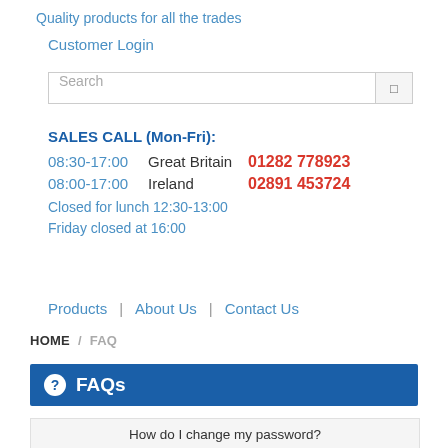Quality products for all the trades
Customer Login
Search
SALES CALL (Mon-Fri):
08:30-17:00   Great Britain  01282 778923
08:00-17:00   Ireland  02891 453724
Closed for lunch 12:30-13:00
Friday closed at 16:00
Products  |  About Us  |  Contact Us
HOME / FAQ
FAQs
How do I change my password?